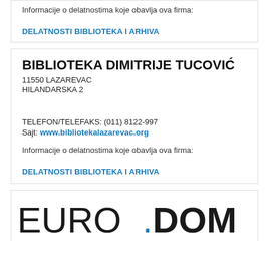Informacije o delatnostima koje obavlja ova firma:
DELATNOSTI BIBLIOTEKA I ARHIVA
BIBLIOTEKA DIMITRIJE TUCOVIĆ
11550 LAZAREVAC
HILANDARSKA 2
TELEFON/TELEFAKS: (011) 8122-997
Sajt: www.bibliotekalazarevac.org
Informacije o delatnostima koje obavlja ova firma:
DELATNOSTI BIBLIOTEKA I ARHIVA
[Figure (logo): EURODOM logo with EURO in light weight and DOM in bold black, with a blue dot before DOM]